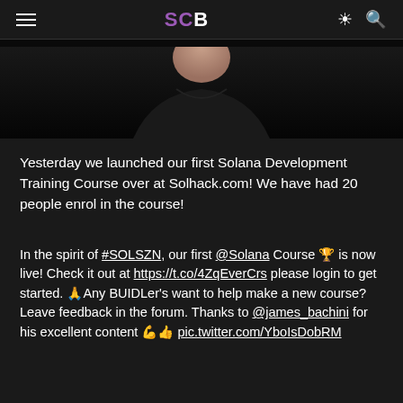SCB
[Figure (photo): Partial photo of a person wearing a black t-shirt against a dark background]
Yesterday we launched our first Solana Development Training Course over at Solhack.com! We have had 20 people enrol in the course!
In the spirit of #SOLSZN, our first @Solana Course 🏆 is now live! Check it out at https://t.co/4ZqEverCrs please login to get started. 🙏Any BUIDLer's want to help make a new course? Leave feedback in the forum. Thanks to @james_bachini for his excellent content 💪👍 pic.twitter.com/YboIsDobRM